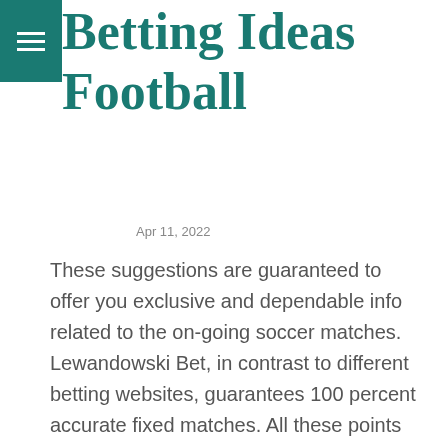Betting Ideas Football
Apr 11, 2022
These suggestions are guaranteed to offer you exclusive and dependable info related to the on-going soccer matches. Lewandowski Bet, in contrast to different betting websites, guarantees 100 percent accurate fixed matches. All these points can have an affect on the end result of the match you're intending to guess on. And that is the place our predictz football predictions may help you make the best decision.